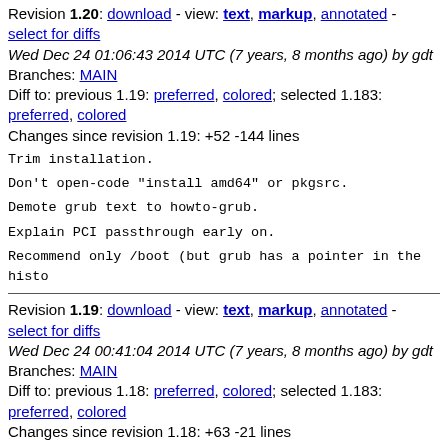Revision 1.20: download - view: text, markup, annotated - select for diffs
Wed Dec 24 01:06:43 2014 UTC (7 years, 8 months ago) by gdt
Branches: MAIN
Diff to: previous 1.19: preferred, colored; selected 1.183: preferred, colored
Changes since revision 1.19: +52 -144 lines
Trim installation.
Don't open-code "install amd64" or pkgsrc.
Demote grub text to howto-grub.
Explain PCI passthrough early on.
Recommend only /boot (but grub has a pointer in the histo
Revision 1.19: download - view: text, markup, annotated - select for diffs
Wed Dec 24 00:41:04 2014 UTC (7 years, 8 months ago) by gdt
Branches: MAIN
Diff to: previous 1.18: preferred, colored; selected 1.183: preferred, colored
Changes since revision 1.18: +63 -21 lines
explain history.